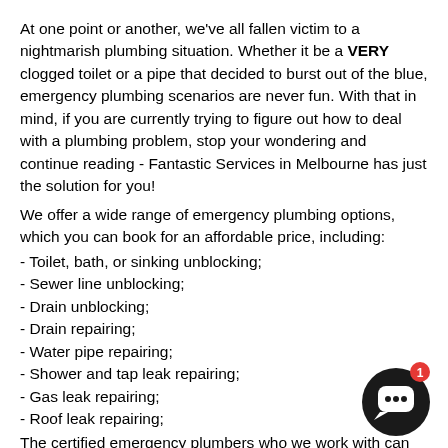At one point or another, we've all fallen victim to a nightmarish plumbing situation. Whether it be a VERY clogged toilet or a pipe that decided to burst out of the blue, emergency plumbing scenarios are never fun. With that in mind, if you are currently trying to figure out how to deal with a plumbing problem, stop your wondering and continue reading - Fantastic Services in Melbourne has just the solution for you!
We offer a wide range of emergency plumbing options, which you can book for an affordable price, including:
- Toilet, bath, or sinking unblocking;
- Sewer line unblocking;
- Drain unblocking;
- Drain repairing;
- Water pipe repairing;
- Shower and tap leak repairing;
- Gas leak repairing;
- Roof leak repairing;
The certified emergency plumbers who we work with can